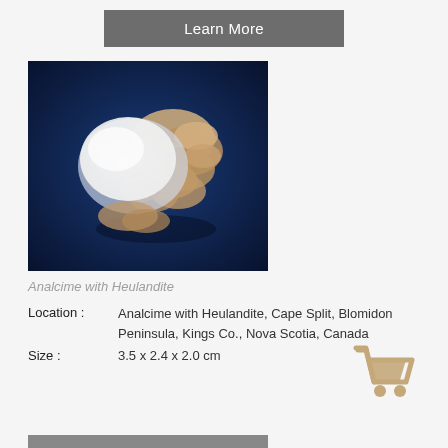Learn More
[Figure (photo): Photograph of an Analcime with Heulandite mineral specimen against a dark blue background. The mineral shows a large white analcime crystal with brownish-tan heulandite crystals clustered around it.]
Analcime with Heulandite
Location : Analcime with Heulandite, Cape Split, Blomidon Peninsula, Kings Co., Nova Scotia, Canada
Size : 3.5 x 2.4 x 2.0 cm
[Figure (illustration): Shopping cart icon in tan/beige color]